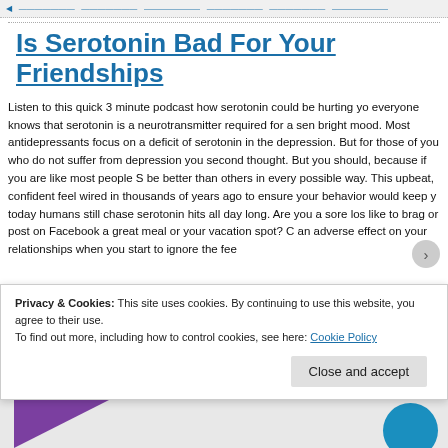navigation links
Is Serotonin Bad For Your Friendships
Listen to this quick 3 minute podcast how serotonin could be hurting you everyone knows that serotonin is a neurotransmitter required for a sense of bright mood. Most antidepressants focus on a deficit of serotonin in the depression. But for those of you who do not suffer from depression you second thought. But you should, because if you are like most people S be better than others in every possible way. This upbeat, confident feel wired in thousands of years ago to ensure your behavior would keep y today humans still chase serotonin hits all day long. Are you a sore los like to brag or post on Facebook a great meal or your vacation spot? C an adverse effect on your relationships when you start to ignore the fee
Privacy & Cookies: This site uses cookies. By continuing to use this website, you agree to their use.
To find out more, including how to control cookies, see here: Cookie Policy
Close and accept